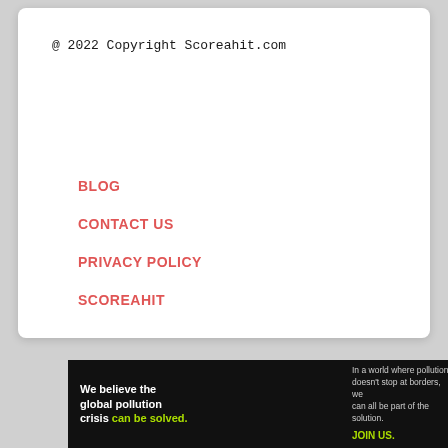@ 2022 Copyright Scoreahit.com
BLOG
CONTACT US
PRIVACY POLICY
SCOREAHIT
[Figure (infographic): Pure Earth advertisement banner with black background. Left side reads 'We believe the global pollution crisis can be solved.' (can be solved in green). Right side text: 'In a world where pollution doesn't stop at borders, we can all be part of the solution. JOIN US.' Pure Earth logo with diamond/layered icon on white background.]